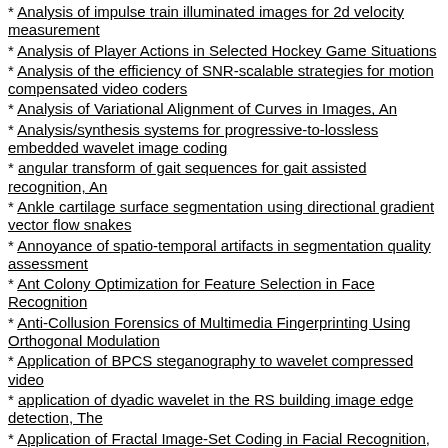* Analysis of impulse train illuminated images for 2d velocity measurement
* Analysis of Player Actions in Selected Hockey Game Situations
* Analysis of the efficiency of SNR-scalable strategies for motion compensated video coders
* Analysis of Variational Alignment of Curves in Images, An
* Analysis/synthesis systems for progressive-to-lossless embedded wavelet image coding
* angular transform of gait sequences for gait assisted recognition, An
* Ankle cartilage surface segmentation using directional gradient vector flow snakes
* Annoyance of spatio-temporal artifacts in segmentation quality assessment
* Ant Colony Optimization for Feature Selection in Face Recognition
* Anti-Collusion Forensics of Multimedia Fingerprinting Using Orthogonal Modulation
* Application of BPCS steganography to wavelet compressed video
* application of dyadic wavelet in the RS building image edge detection, The
* Application of Fractal Image-Set Coding in Facial Recognition, An
* Application of Multi-criteria Analysis for the Creation of a